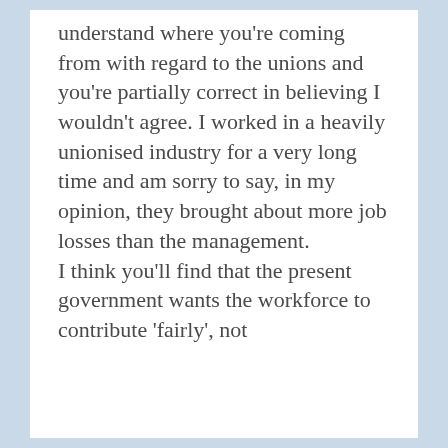understand where you're coming from with regard to the unions and you're partially correct in believing I wouldn't agree. I worked in a heavily unionised industry for a very long time and am sorry to say, in my opinion, they brought about more job losses than the management. I think you'll find that the present government wants the workforce to contribute 'fairly', not